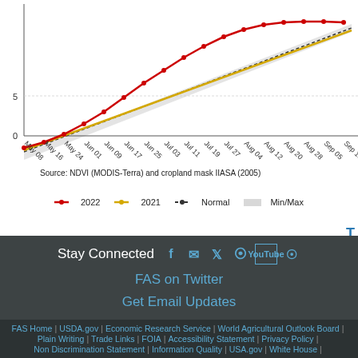[Figure (continuous-plot): Partial NDVI line chart showing 2022 (red), 2021 (yellow), Normal (black), and Min/Max (gray shaded area) from May 08 through Sep 21. The x-axis shows dates from May 08 to Sep 21 and the y-axis shows values from 0 to above 5. The 2022 line (red) shows a steep upward trend.]
Source: NDVI (MODIS-Terra) and cropland mask IIASA (2005)
2022    2021    Normal    Min/Max
Stay Connected  FAS on Twitter  Get Email Updates  FAS Home | USDA.gov | Economic Research Service | World Agricultural Outlook Board | Plain Writing | Trade Links | FOIA | Accessibility Statement | Privacy Policy | Non Discrimination Statement | Information Quality | USA.gov | White House |